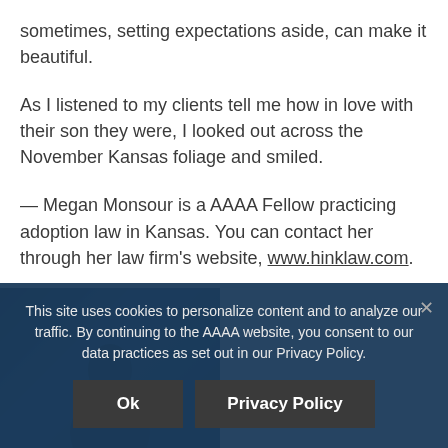sometimes, setting expectations aside, can make it beautiful.
As I listened to my clients tell me how in love with their son they were, I looked out across the November Kansas foliage and smiled.
— Megan Monsour is a AAAA Fellow practicing adoption law in Kansas. You can contact her through her law firm's website, www.hinklaw.com.
[Figure (photo): Partial photo of a person, mostly obscured by cookie consent banner overlay]
This site uses cookies to personalize content and to analyze our traffic. By continuing to the AAAA website, you consent to our data practices as set out in our Privacy Policy.